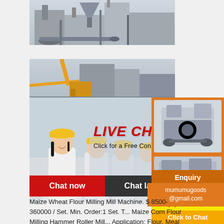[Figure (photo): Industrial machinery / factory equipment – top photo]
[Figure (photo): Industrial construction equipment with yellow crane – middle photo]
[Figure (photo): Live Chat panel showing workers in hard hats with LIVE CHAT text, close button, subtitle 'Click for a Free Consultation', Chat now and Chat later buttons]
[Figure (photo): Orange side panel with two machinery photos (crushers/mills)]
Maize Wheat Flour Milling Mill Machine. $ 8500-360000 / Set. Min. Order:1 Set. Maize Corn Flour Milling Hammer Roller Mill Application: Flour, Meal Grits. Voltage: 3... 50Hz 3phase. Appearance: Stainless St... Pipes, Touch Screen Control. Press Materials: Wheat Maize/Corn. Press Se... Automatic ...
Enjoy 3% discount
Click to Chat
Enquiry
mumumugoods@gmail.com